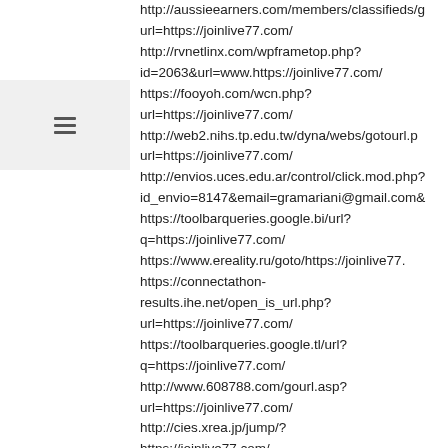http://aussieearners.com/members/classifieds/g
url=https://joinlive77.com/
http://rvnetlinx.com/wpframetop.php?id=2063&url=www.https://joinlive77.com/
https://fooyoh.com/wcn.php?url=https://joinlive77.com/
http://web2.nihs.tp.edu.tw/dyna/webs/gotourl.p url=https://joinlive77.com/
http://envios.uces.edu.ar/control/click.mod.php? id_envio=8147&email=gramariani@gmail.com&
https://toolbarqueries.google.bi/url? q=https://joinlive77.com/
https://www.ereality.ru/goto/https://joinlive77.
https://connectathon-results.ihe.net/open_is_url.php?url=https://joinlive77.com/
https://toolbarqueries.google.tl/url?q=https://joinlive77.com/
http://www.608788.com/gourl.asp?url=https://joinlive77.com/
http://cies.xrea.jp/jump/?
https://joinlive77.com/